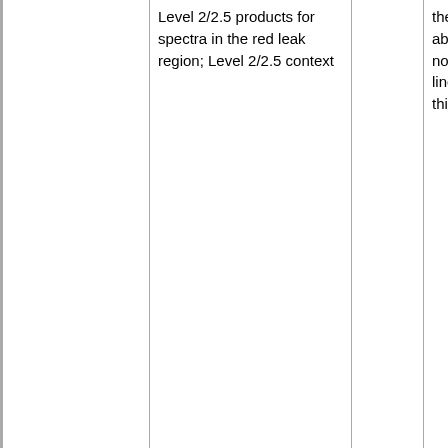|  | Level 2/2.5 products for spectra in the red leak region; Level 2/2.5 context |  | the spectra are cut off just above 190 microns, but we can no produce a reasonably well line flu calibrated spectrum in this region |
| PointingOffsetCorrection spectra for pointed observations | Provide the point-source corrected spectrum for pointed observations; possibly focussing only on those with point-like | High | The results of the POC script can be better than those provided in the SPG, and this is especially so for off- |